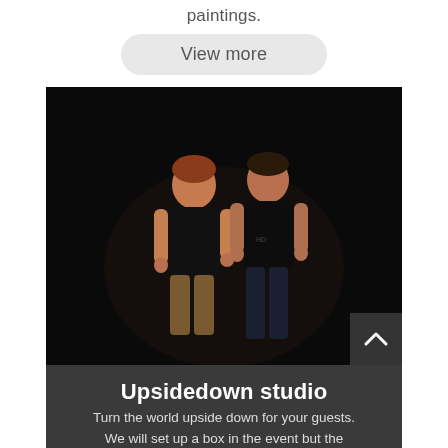paintings.
View more
[Figure (photo): Two men standing against a black background; left man has reddish hair and wears a black t-shirt and brown pants; right man wears a black t-shirt and dark jeans.]
Upsidedown studio
Turn the world upside down for your guests.
We will set up a box in the event but the